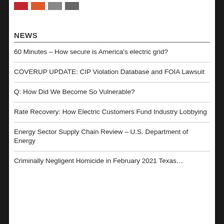[Figure (other): Four colored legend boxes/buttons: red, orange, gray, dark gray]
NEWS
60 Minutes – How secure is America's electric grid?
COVERUP UPDATE: CIP Violation Database and FOIA Lawsuit
Q: How Did We Become So Vulnerable?
Rate Recovery: How Electric Customers Fund Industry Lobbying
Energy Sector Supply Chain Review – U.S. Department of Energy
Criminally Negligent Homicide in February 2021 Texas…